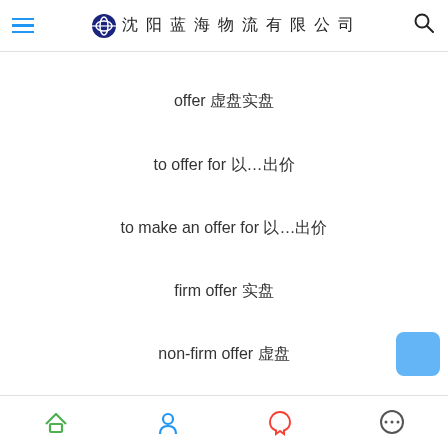沈阳蓝海物流有限公司
offer 虚盘实盘
to offer for 以…出价
to make an offer for 以…出价
firm offer 实盘
non-firm offer 虚盘
navigation bar